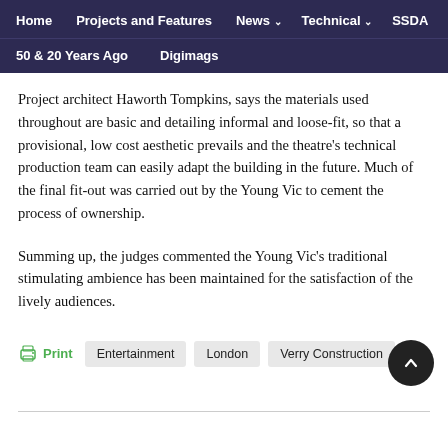Home   Projects and Features   News   Technical   SSDA
50 & 20 Years Ago   Digimags
Project architect Haworth Tompkins, says the materials used throughout are basic and detailing informal and loose-fit, so that a provisional, low cost aesthetic prevails and the theatre's technical production team can easily adapt the building in the future. Much of the final fit-out was carried out by the Young Vic to cement the process of ownership.
Summing up, the judges commented the Young Vic's traditional stimulating ambience has been maintained for the satisfaction of the lively audiences.
Print | Entertainment | London | Verry Construction